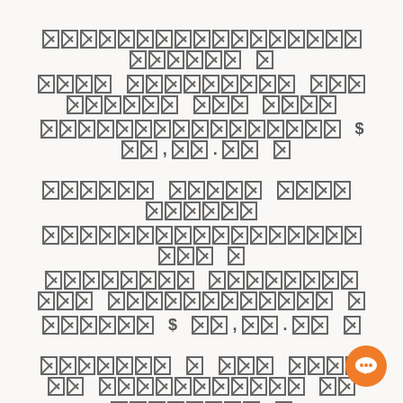[REDACTED] [REDACTED] [REDACTED] [REDACTED] [REDACTED] [REDACTED] [REDACTED] [REDACTED] [REDACTED] [REDACTED] [REDACTED] $ [REDACTED],[REDACTED].[REDACTED][REDACTED] [REDACTED]
[REDACTED] [REDACTED] [REDACTED] [REDACTED] [REDACTED] [REDACTED] [REDACTED] [REDACTED] [REDACTED] [REDACTED] [REDACTED] [REDACTED] [REDACTED] [REDACTED] [REDACTED] $ [REDACTED],[REDACTED].[REDACTED][REDACTED] [REDACTED]
[REDACTED] [REDACTED] [REDACTED] [REDACTED] [REDACTED] [REDACTED] [REDACTED] [REDACTED] [REDACTED] [REDACTED] [REDACTED] [REDACTED] [REDACTED] [REDACTED] $ [REDACTED],[REDACTED].[REDACTED][REDACTED] [REDACTED]